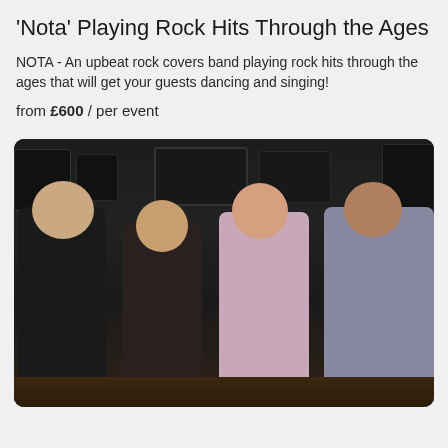'Nota' Playing Rock Hits Through the Ages
NOTA - An upbeat rock covers band playing rock hits through the ages that will get your guests dancing and singing!
from £600 / per event
[Figure (photo): Four band members (three men and one woman) sitting and smiling in front of music equipment and speakers in a dark studio setting. The woman is laughing with her mouth open. The rightmost man wears glasses.]